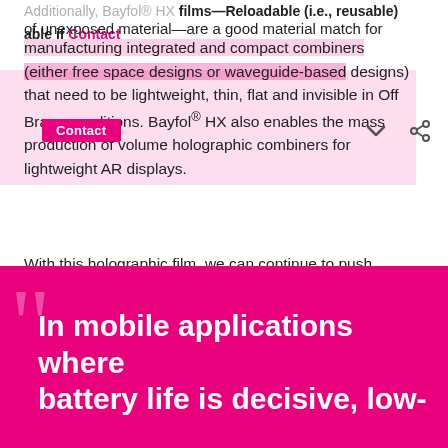Additionally, Bayfol® HX films—reloadable (i.e., reusable) and free of unexposed material—are a good material match for manufacturing integrated and compact combiners (either free space designs or waveguide-based designs) that need to be lightweight, thin, flat and invisible in Off Bragg conditions. Bayfol® HX also enables the mass production of volume holographic combiners for lightweight AR displays.
With this holographic film, we can continue to push boundaries in optical technologies and help create a new way to experience reality.
In mobile applications where battery life is decisive, low-